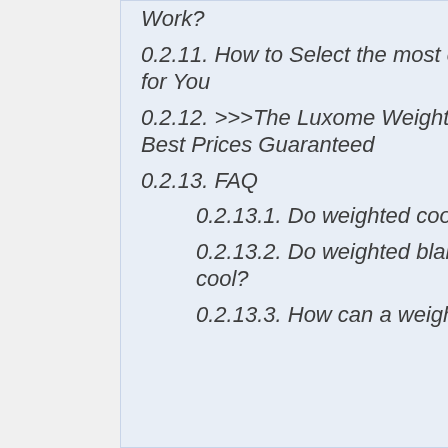Work?
0.2.11. How to Select the most effective Weighted Blanket for You
0.2.12. >>>The Luxome Weighted Blanket Right Here -Best Prices Guaranteed
0.2.13. FAQ
0.2.13.1. Do weighted cooling blankets really work?
0.2.13.2. Do weighted blankets keep you warm or cool?
0.2.13.3. How can a weighted blanket be cooling?